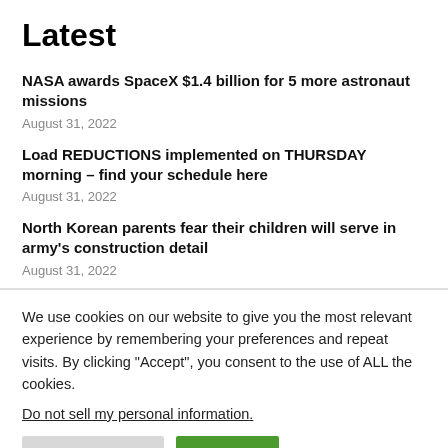Latest
NASA awards SpaceX $1.4 billion for 5 more astronaut missions
August 31, 2022
Load REDUCTIONS implemented on THURSDAY morning – find your schedule here
August 31, 2022
North Korean parents fear their children will serve in army's construction detail
August 31, 2022
We use cookies on our website to give you the most relevant experience by remembering your preferences and repeat visits. By clicking “Accept”, you consent to the use of ALL the cookies.
Do not sell my personal information.
Cookie Settings  Accept